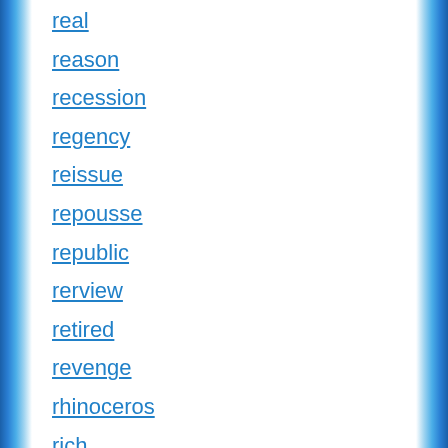real
reason
recession
regency
reissue
repousse
republic
rerview
retired
revenge
rhinoceros
rich
right
roast